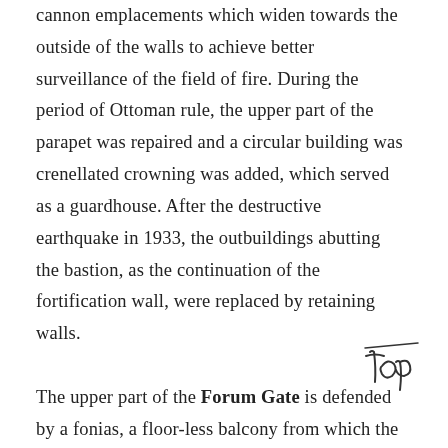cannon emplacements which widen towards the outside of the walls to achieve better surveillance of the field of fire. During the period of Ottoman rule, the upper part of the parapet was repaired and a circular building was crenellated crowning was added, which served as a guardhouse. After the destructive earthquake in 1933, the outbuildings abutting the bastion, as the continuation of the fortification wall, were replaced by retaining walls.

The upper part of the Forum Gate is defended by a fonias, a floor-less balcony from which the defendants poured burning oil or other lethal
[Figure (illustration): Handwritten cursive text reading 'Top' with a line above it, resembling a handwritten annotation or signature]